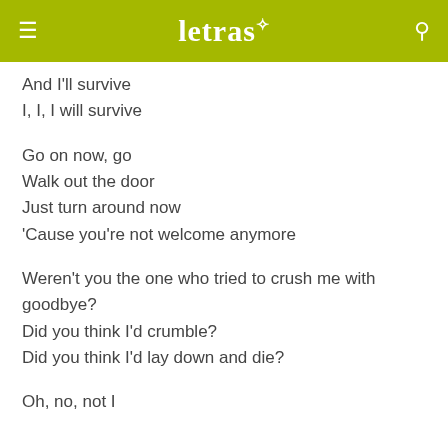letras
And I'll survive
I, I, I will survive
Go on now, go
Walk out the door
Just turn around now
'Cause you're not welcome anymore
Weren't you the one who tried to crush me with goodbye?
Did you think I'd crumble?
Did you think I'd lay down and die?
Oh, no, not I